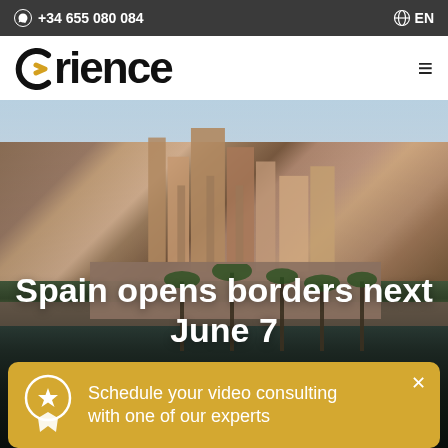+34 655 080 084  EN
[Figure (logo): Orience company logo with yellow arrow symbol and black text]
[Figure (photo): Aerial/ground view of a Spanish coastal city with a Gothic cathedral (La Seu, Palma de Mallorca), palm trees, stone walls, and a reflective waterfront or moat in the foreground]
Spain opens borders next June 7
Schedule your video consulting with one of our experts